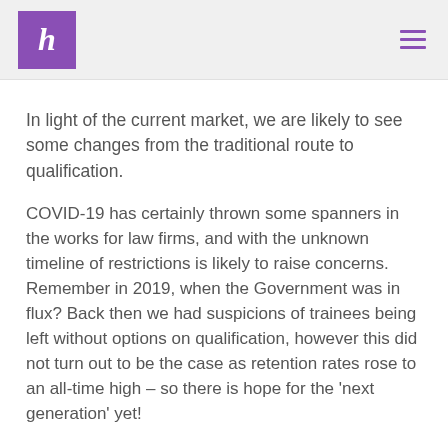h
In light of the current market, we are likely to see some changes from the traditional route to qualification.
COVID-19 has certainly thrown some spanners in the works for law firms, and with the unknown timeline of restrictions is likely to raise concerns. Remember in 2019, when the Government was in flux? Back then we had suspicions of trainees being left without options on qualification, however this did not turn out to be the case as retention rates rose to an all-time high – so there is hope for the 'next generation' yet!
Typically, law firms will be on the cusp of their internal hiring…